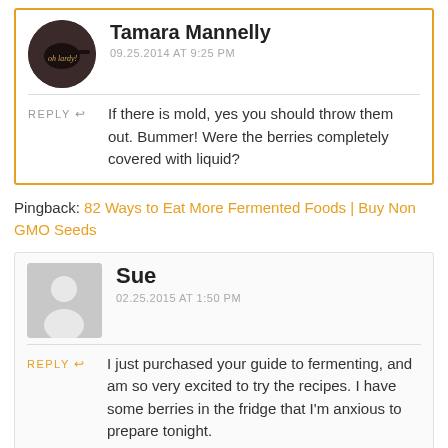Tamara Mannelly
09.25.2014 AT 9:25 PM
REPLY
If there is mold, yes you should throw them out. Bummer! Were the berries completely covered with liquid?
Pingback: 82 Ways to Eat More Fermented Foods | Buy Non GMO Seeds
Sue
02.25.2015 AT 1:50 PM
REPLY
I just purchased your guide to fermenting, and am so very excited to try the recipes. I have some berries in the fridge that I'm anxious to prepare tonight.

My plan is to make my own whey for